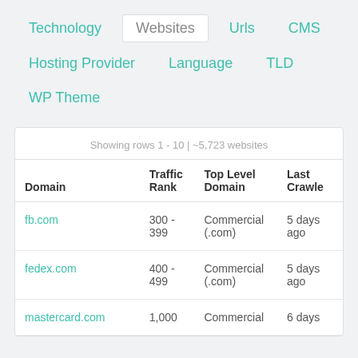Technology
Websites
Urls
CMS
Hosting Provider
Language
TLD
WP Theme
Showing rows 1 - 10 | ~5,723 websites
| Domain | Traffic Rank | Top Level Domain | Last Crawled |
| --- | --- | --- | --- |
| fb.com | 300 - 399 | Commercial (.com) | 5 days ago |
| fedex.com | 400 - 499 | Commercial (.com) | 5 days ago |
| mastercard.com | 1,000 | Commercial | 6 days |